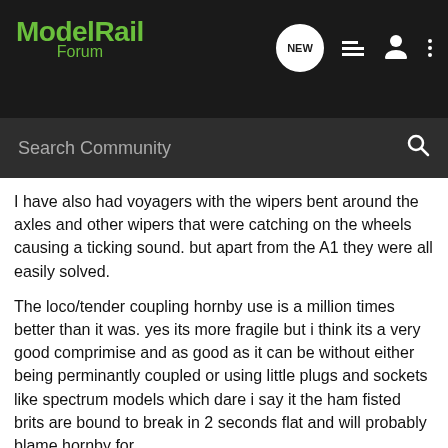Model Rail Forum
I have also had voyagers with the wipers bent around the axles and other wipers that were catching on the wheels causing a ticking sound. but apart from the A1 they were all easily solved.
The loco/tender coupling hornby use is a million times better than it was. yes its more fragile but i think its a very good comprimise and as good as it can be without either being perminantly coupled or using little plugs and sockets like spectrum models which dare i say it the ham fisted brits are bound to break in 2 seconds flat and will probably blame hornby for.
They will have to adress this issue however if they want to go along the sound route. i think the tender is a much better place for a decoder but it will mean 4 current paths rather than the durrent 2.